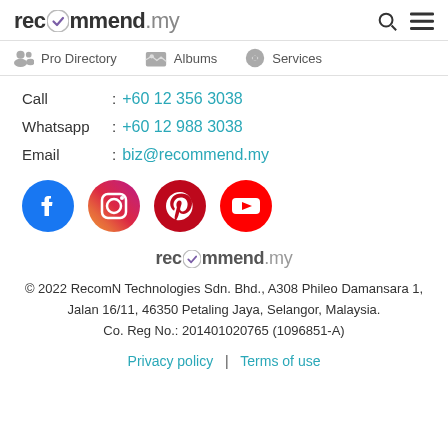recommend.my
Pro Directory   Albums   Services
Call : +60 12 356 3038
Whatsapp : +60 12 988 3038
Email : biz@recommend.my
[Figure (illustration): Social media icons: Facebook, Instagram, Pinterest, YouTube]
[Figure (logo): recommend.my footer logo]
© 2022 RecomN Technologies Sdn. Bhd., A308 Phileo Damansara 1, Jalan 16/11, 46350 Petaling Jaya, Selangor, Malaysia.
Co. Reg No.: 201401020765 (1096851-A)
Privacy policy  |  Terms of use